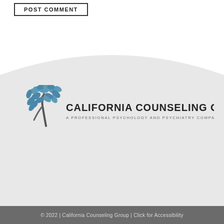POST COMMENT
[Figure (logo): California Counseling Group logo with a stylized blue tree and the text 'CALIFORNIA COUNSELING GROUP' and 'A PROFESSIONAL PSYCHOLOGY AND PSYCHIATRY COMPANY']
© 2022 | California Counseling Group | Click for Accessibility